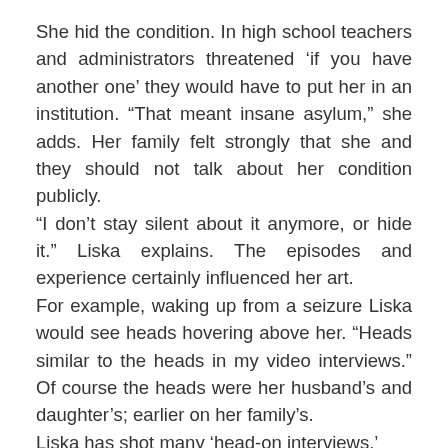She hid the condition. In high school teachers and administrators threatened 'if you have another one' they would have to put her in an institution. "That meant insane asylum," she adds. Her family felt strongly that she and they should not talk about her condition publicly.
"I don't stay silent about it anymore, or hide it." Liska explains. The episodes and experience certainly influenced her art.
For example, waking up from a seizure Liska would see heads hovering above her. "Heads similar to the heads in my video interviews." Of course the heads were her husband's and daughter's; earlier on her family's.
Liska has shot many 'head-on interviews.'